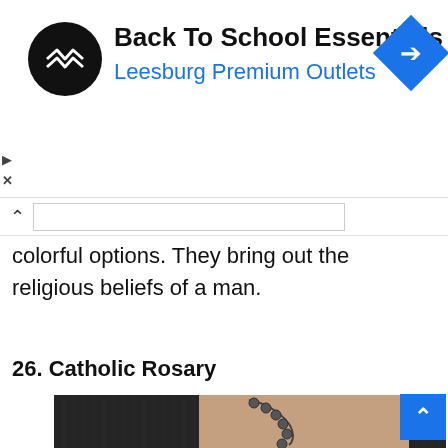[Figure (screenshot): Advertisement banner: black circular logo with double arrow symbol, text 'Back To School Essentials' in bold black and 'Leesburg Premium Outlets' in blue, blue diamond navigation arrow icon on right. Controls (play and close) on left edge.]
colorful options. They bring out the religious beliefs of a man.
26. Catholic Rosary
[Figure (photo): Photograph of a Catholic rosary tattoo on a person's forearm/wrist, showing dark beads on a string against dark textured background.]